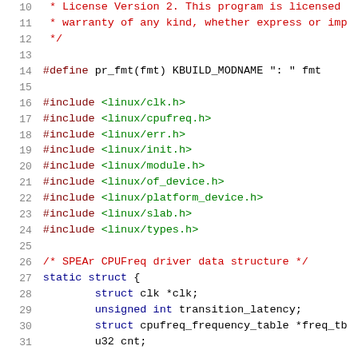Source code listing: Linux SPEAr CPUFreq driver, lines 10-31
10   * License Version 2. This program is licensed
11   * warranty of any kind, whether express or imp
12   */
13
14   #define pr_fmt(fmt) KBUILD_MODNAME ": " fmt
15
16   #include <linux/clk.h>
17   #include <linux/cpufreq.h>
18   #include <linux/err.h>
19   #include <linux/init.h>
20   #include <linux/module.h>
21   #include <linux/of_device.h>
22   #include <linux/platform_device.h>
23   #include <linux/slab.h>
24   #include <linux/types.h>
25
26   /* SPEAr CPUFreq driver data structure */
27   static struct {
28       struct clk *clk;
29       unsigned int transition_latency;
30       struct cpufreq_frequency_table *freq_tb
31       u32 cnt;